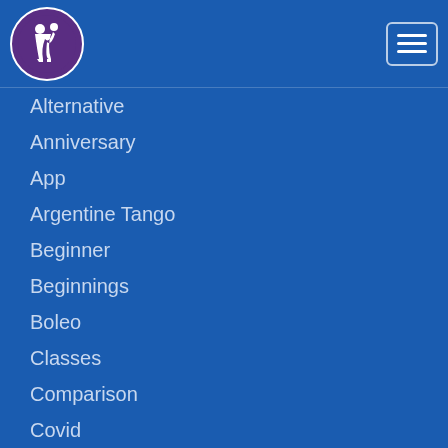Navigation header with logo and hamburger menu
Alternative
Anniversary
App
Argentine Tango
Beginner
Beginnings
Boleo
Classes
Comparison
Covid
Dance Classes
Difficult
EITF
Evolution
Exercises
Expert
Festival
Freestyle
Guest Teaching
Isolation